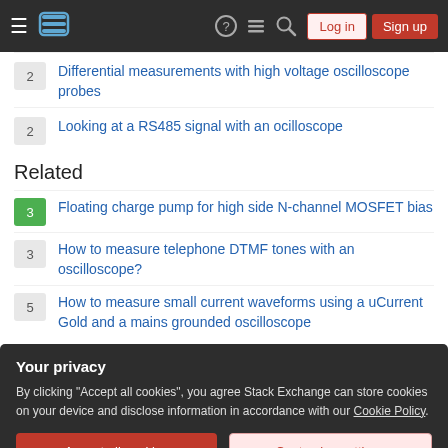Stack Exchange navigation bar with Log in and Sign up buttons
2 — Differential measurements with high voltage oscilloscope probes
2 — Looking at a RS485 signal with an ocilloscope
Related
3 — Floating charge pump for high side N-channel MOSFET bias
3 — How to measure telephone DTMF tones with an oscilloscope?
5 — How to measure small current waveforms using a uCurrent Gold and a mains grounded oscilloscope
Your privacy
By clicking "Accept all cookies", you agree Stack Exchange can store cookies on your device and disclose information in accordance with our Cookie Policy.
Accept all cookies   Customize settings
"Buy assets, not liabilities": How is it possible to buy a liability?